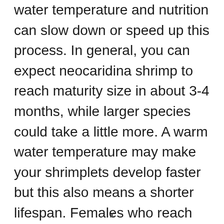water temperature and nutrition can slow down or speed up this process. In general, you can expect neocaridina shrimp to reach maturity size in about 3-4 months, while larger species could take a little more. A warm water temperature may make your shrimplets develop faster but this also means a shorter lifespan. Females who reach maturity early and breed when they are still small in size will also lay less eggs for the next generation.
x